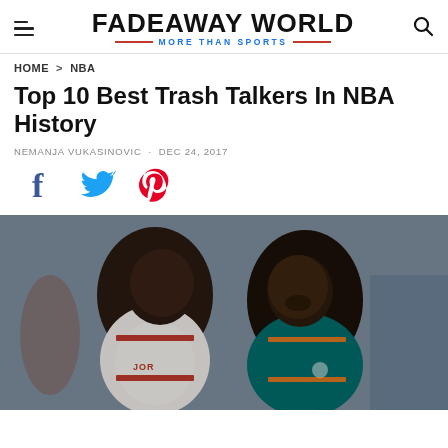FADEAWAY WORLD — MORE THAN SPORTS
HOME > NBA
Top 10 Best Trash Talkers In NBA History
NEMANJA VUKASINOVIC · DEC 24, 2017
[Figure (other): Social sharing icons: Facebook, Twitter, Pinterest]
[Figure (photo): Two NBA players face to face in a close confrontation, one wearing a white Chicago Bulls jersey, the other wearing a teal Seattle SuperSonics jersey]